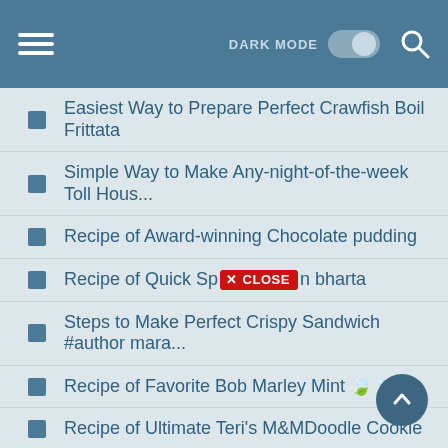DARK MODE [toggle] [search]
Easiest Way to Prepare Perfect Crawfish Boil Frittata
Simple Way to Make Any-night-of-the-week Toll Hous...
Recipe of Award-winning Chocolate pudding
Recipe of Quick Sp✕ CLOSE n bharta
Steps to Make Perfect Crispy Sandwich #author mara...
Recipe of Favorite Bob Marley Mint 🍃🍃
Recipe of Ultimate Teri's M&MDoodle Cookie
Steps to Prepare Ultimate Greek style chicken
How to Prepare Speedy Black bean soup
Steps to Prepare Award-winning Last Minute Crock-P...
Easiest Way to Make Homemade Sig's stuffed sweet p...
Recipe of Ultimate Stir Fried Vegetables And Curri...
Simple Way to Prepare Favorite Orange Gingmint Del